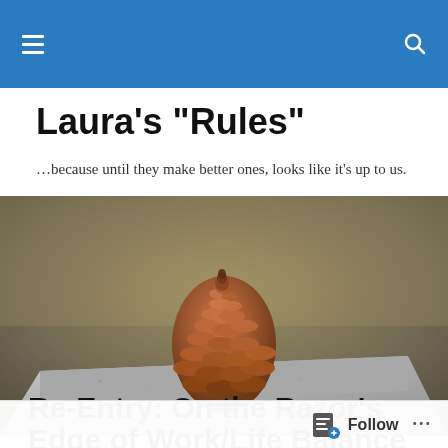Laura's "Rules"
Laura's "Rules"
…because until they make better ones, looks like it's up to us.
[Figure (photo): A pine cone resting on top of a grey granite stone block, with a blurred olive-brown background.]
TAGGED WITH WOMEN'S ACHIEVEMENT
Re-Entry: On the Razor's Edge of Work/Life Balance